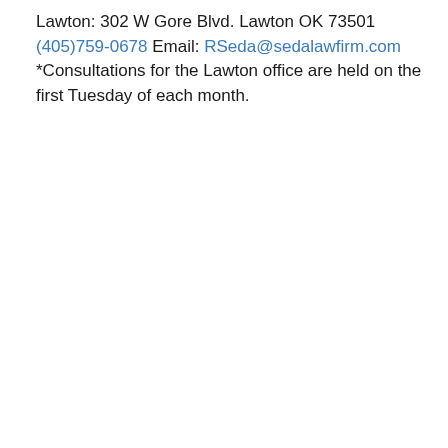Lawton: 302 W Gore Blvd. Lawton OK 73501 (405)759-0678 Email: RSeda@sedalawfirm.com *Consultations for the Lawton office are held on the first Tuesday of each month.